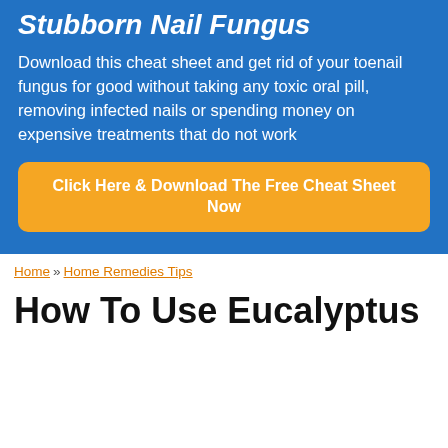Stubborn Nail Fungus
Download this cheat sheet and get rid of your toenail fungus for good without taking any toxic oral pill, removing infected nails or spending money on expensive treatments that do not work
Click Here & Download The Free Cheat Sheet Now
Home » Home Remedies Tips
How To Use Eucalyptus